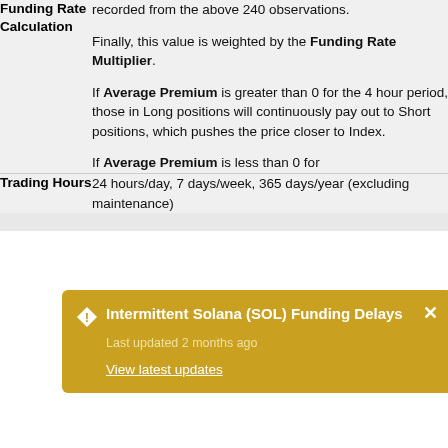recorded from the above 240 observations.

Finally, this value is weighted by the Funding Rate Multiplier.

If Average Premium is greater than 0 for the 4 hour period, those in Long positions will continuously pay out to Short positions, which pushes the price closer to Index.

If Average Premium is less than 0 for
[Figure (infographic): Yellow notification popup: 'Intermittent Solana (SOL) Funding Delays' with warning diamond icon, X close button, 'Last updated 2 months ago' subtitle, and 'View latest updates' underlined link.]
Trading Hours: 24 hours/day, 7 days/week, 365 days/year (excluding maintenance)